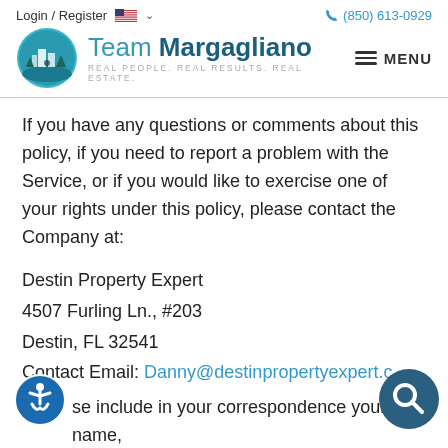Login / Register  (850) 613-0929
[Figure (logo): Team Margagliano real estate logo with circular teal icon and text 'Team Margagliano - Real People. Real Results. Real Estate.']
If you have any questions or comments about this policy, if you need to report a problem with the Service, or if you would like to exercise one of your rights under this policy, please contact the Company at:
Destin Property Expert
4507 Furling Ln., #203
Destin, FL 32541
Contact Email: Danny@destinpropertyexpert.com
Please include in your correspondence your name,